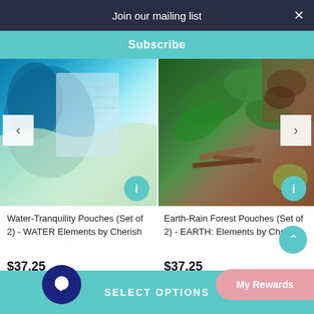Join our mailing list
Subscribe
[Figure (photo): Product image of Water-Tranquility Pouches showing blue ocean/water art design]
[Figure (photo): Product image of Earth-Rain Forest Pouches showing green forest/earth elements]
Water-Tranquility Pouches (Set of 2) - WATER Elements by Cherish
$37.25
Earth-Rain Forest Pouches (Set of 2) - EARTH: Elements by Cherish
$37.25
SELECT OPTIONS
My Rewards